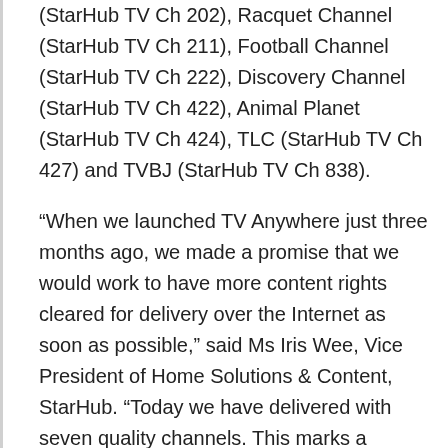(StarHub TV Ch 202), Racquet Channel (StarHub TV Ch 211), Football Channel (StarHub TV Ch 222), Discovery Channel (StarHub TV Ch 422), Animal Planet (StarHub TV Ch 424), TLC (StarHub TV Ch 427) and TVBJ (StarHub TV Ch 838).
“When we launched TV Anywhere just three months ago, we made a promise that we would work to have more content rights cleared for delivery over the Internet as soon as possible,” said Ms Iris Wee, Vice President of Home Solutions & Content, StarHub. “Today we have delivered with seven quality channels. This marks a significant step in our vision to deliver captivating content to our customers on any device, at anytime, anywhere. StarHub TV